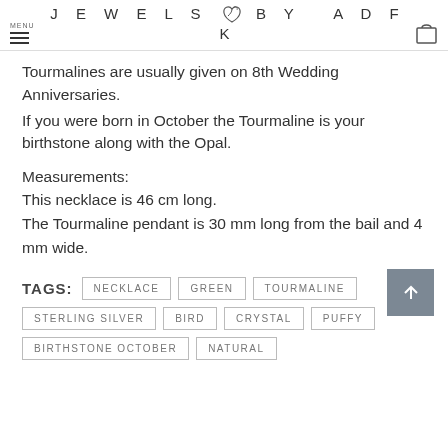MENU JEWELS BY ADFK
Tourmalines are usually given on 8th Wedding Anniversaries.
If you were born in October the Tourmaline is your birthstone along with the Opal.
Measurements:
This necklace is 46 cm long.
The Tourmaline pendant is 30 mm long from the bail and 4 mm wide.
TAGS: NECKLACE  GREEN  TOURMALINE  STERLING SILVER  BIRD  CRYSTAL  PUFFY  BIRTHSTONE OCTOBER  NATURAL